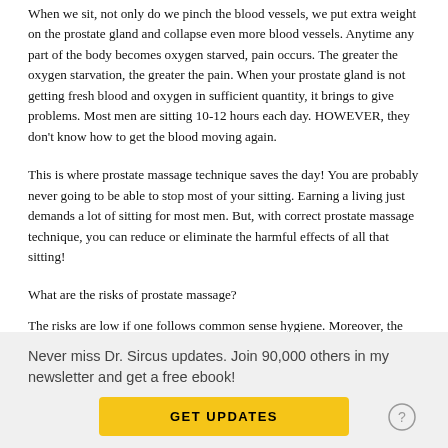When we sit, not only do we pinch the blood vessels, we put extra weight on the prostate gland and collapse even more blood vessels. Anytime any part of the body becomes oxygen starved, pain occurs. The greater the oxygen starvation, the greater the pain. When your prostate gland is not getting fresh blood and oxygen in sufficient quantity, it brings to give problems. Most men are sitting 10-12 hours each day. HOWEVER, they don't know how to get the blood moving again.
This is where prostate massage technique saves the day! You are probably never going to be able to stop most of your sitting. Earning a living just demands a lot of sitting for most men. But, with correct prostate massage technique, you can reduce or eliminate the harmful effects of all that sitting!
What are the risks of prostate massage?
The risks are low if one follows common sense hygiene. Moreover, the
Never miss Dr. Sircus updates. Join 90,000 others in my newsletter and get a free ebook!